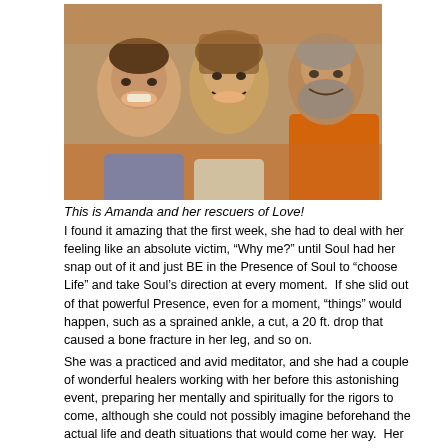[Figure (photo): A selfie photo of three smiling people outdoors — a man on the left, a woman in the center, and a bearded man on the right wearing an orange shirt. This is Amanda and her rescuers.]
This is Amanda and her rescuers of Love!
I found it amazing that the first week, she had to deal with her feeling like an absolute victim, “Why me?” until Soul had her snap out of it and just BE in the Presence of Soul to “choose Life” and take Soul’s direction at every moment.  If she slid out of that powerful Presence, even for a moment, “things” would happen, such as a sprained ankle, a cut, a 20 ft. drop that caused a bone fracture in her leg, and so on.
She was a practiced and avid meditator, and she had a couple of wonderful healers working with her before this astonishing event, preparing her mentally and spiritually for the rigors to come, although she could not possibly imagine beforehand the actual life and death situations that would come her way.  Her Soul clearly told her, at least after the event that this was all meant to happen to bring this awareness of her Guidance to the world.  Although I am truly amazed that most of the people who have commented on her ordeal on YouTube have no clue about what really happened!
But her authenticity of being guided so perfectly by Soul is so very palpable!  Take heart and encouragement for you to get into shape with Soul.